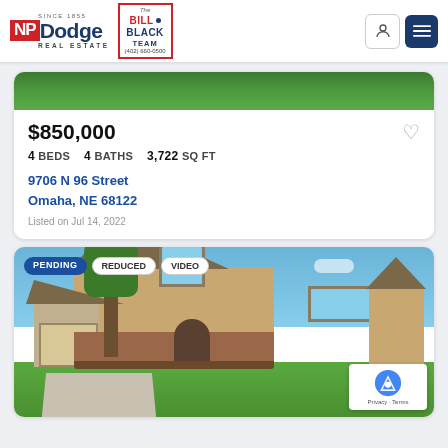NP Dodge Real Estate – The Bill Black Team – Since 1855 – (402) 660-0500
$850,000
4 BEDS  4 BATHS  3,722 SQ FT
9706 N 96 Street
Omaha, NE 68122
Listed on Jul 14, 2022
[Figure (photo): Exterior photo of a two-story brick and siding house with three-car garage, landscaping, and lawn. Badges: PENDING, REDUCED, VIDEO.]
PENDING  REDUCED  VIDEO